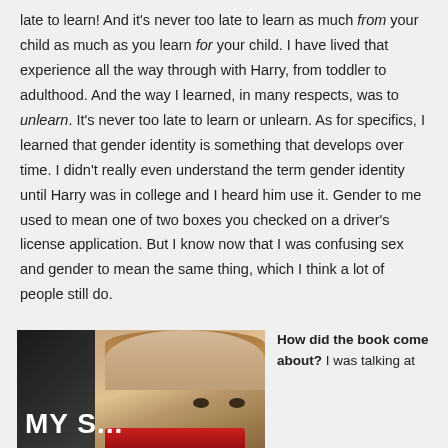late to learn! And it's never too late to learn as much from your child as much as you learn for your child. I have lived that experience all the way through with Harry, from toddler to adulthood. And the way I learned, in many respects, was to unlearn. It's never too late to learn or unlearn. As for specifics, I learned that gender identity is something that develops over time. I didn't really even understand the term gender identity until Harry was in college and I heard him use it. Gender to me used to mean one of two boxes you checked on a driver's license application. But I know now that I was confusing sex and gender to mean the same thing, which I think a lot of people still do.
[Figure (photo): Book cover showing a young child's face with the title 'MY S...' visible in large white text on the left side]
How did the book come about? I was talking at